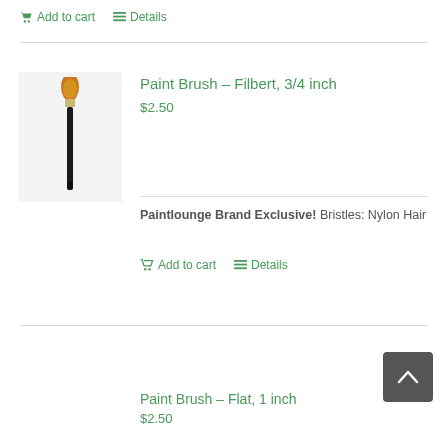Add to cart   Details
[Figure (photo): A filbert paint brush with orange/gold bristles and black handle on a white background]
Paint Brush – Filbert, 3/4 inch
$2.50
Paintlounge Brand Exclusive! Bristles: Nylon Hair
Add to cart   Details
Paint Brush – Flat, 1 inch
$2.50